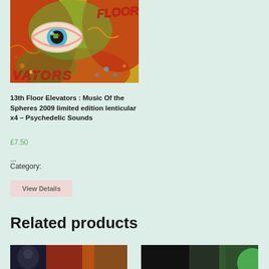[Figure (photo): Album cover for 13th Floor Elevators Music of the Spheres - psychedelic art with large eye, orange and green swirling patterns, text reading FLOOR and VATORS]
13th Floor Elevators : Music Of the Spheres 2009 limited edition lenticular x4 – Psychedelic Sounds
£7.50
...
Category:
View Details
Related products
[Figure (photo): Related product thumbnail - dark image with red and orange tones]
[Figure (photo): Related product thumbnail - dark image with green tones and partial green circle]